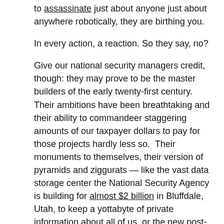to assassinate just about anyone just about anywhere robotically, they are birthing you.
In every action, a reaction. So they say, no?
Give our national security managers credit, though: they may prove to be the master builders of the early twenty-first century. Their ambitions have been breathtaking and their ability to commandeer staggering amounts of our taxpayer dollars to pay for those projects hardly less so.  Their monuments to themselves, their version of pyramids and ziggurats — like the vast data storage center the National Security Agency is building for almost $2 billion in Bluffdale, Utah, to keep a yottabyte of private information about all of us, or the new post-9/11 headquarters the National Geospatial-Intelligence Agency built, again for almost $2 billion, so that its 16,000 employees could monitor our system of satellites monitoring every square inch of the planet — are in their own way